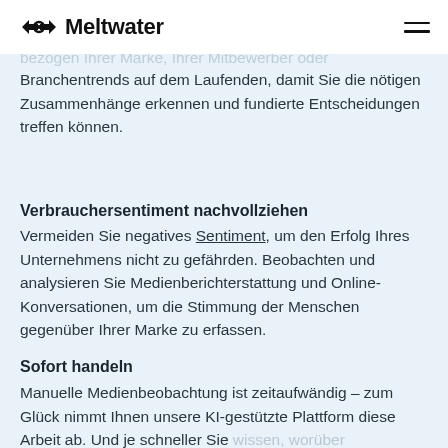Meltwater
Branchentrends auf dem Laufenden, damit Sie die nötigen Zusammenhänge erkennen und fundierte Entscheidungen treffen können.
Verbrauchersentiment nachvollziehen
Vermeiden Sie negatives Sentiment, um den Erfolg Ihres Unternehmens nicht zu gefährden. Beobachten und analysieren Sie Medienberichterstattung und Online-Konversationen, um die Stimmung der Menschen gegenüber Ihrer Marke zu erfassen.
Sofort handeln
Manuelle Medienbeobachtung ist zeitaufwändig – zum Glück nimmt Ihnen unsere KI-gestützte Plattform diese Arbeit ab. Und je schneller Sie wissen, worüber gesprochen wird, desto schneller